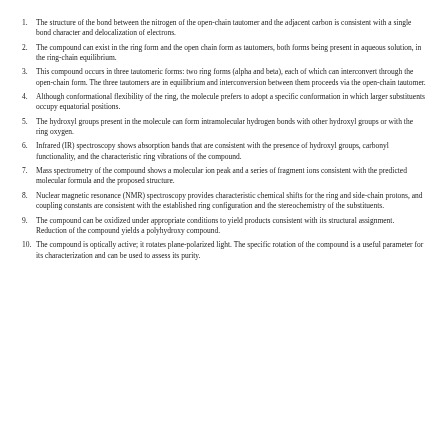1. The structure of the bond between the nitrogen of the open-chain tautomer and the adjacent carbon is consistent with a single bond character and delocalization of electrons.
2. The compound can exist in the ring form and the open chain form as tautomers, both forms being present in aqueous solution, in the ring-chain equilibrium.
3. This compound occurs in three tautomeric forms: two ring forms (alpha and beta), each of which can interconvert through the open-chain form. The three tautomers are in equilibrium and interconversion between them proceeds via the open-chain tautomer.
4. Although conformational flexibility of the ring, the molecule prefers to adopt a specific conformation in which larger substituents occupy equatorial positions.
5. The hydroxyl groups present in the molecule can form intramolecular hydrogen bonds with other hydroxyl groups or with the ring oxygen.
6. Infrared (IR) spectroscopy shows absorption bands that are consistent with the presence of hydroxyl groups, carbonyl functionality, and the characteristic ring vibrations of the compound.
7. Mass spectrometry of the compound shows a molecular ion peak and a series of fragment ions consistent with the predicted molecular formula and the proposed structure.
8. Nuclear magnetic resonance (NMR) spectroscopy provides characteristic chemical shifts for the ring and side-chain protons, and coupling constants are consistent with the established ring configuration and the stereochemistry of the substituents.
9. The compound can be oxidized under appropriate conditions to yield products consistent with its structural assignment. Reduction of the compound yields a polyhydroxy compound.
10. The compound is optically active; it rotates plane-polarized light. The specific rotation of the compound is a useful parameter for its characterization and can be used to assess its purity.